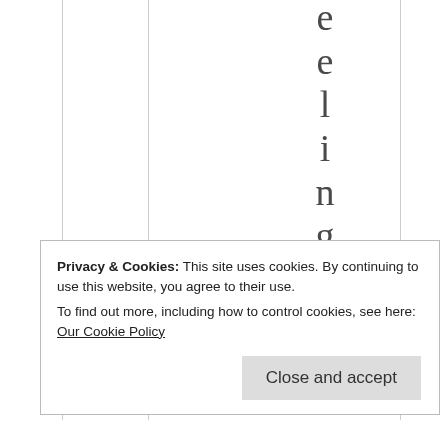e e l i n g ?
★ Liked by 1 person
Privacy & Cookies: This site uses cookies. By continuing to use this website, you agree to their use.
To find out more, including how to control cookies, see here: Our Cookie Policy
Close and accept